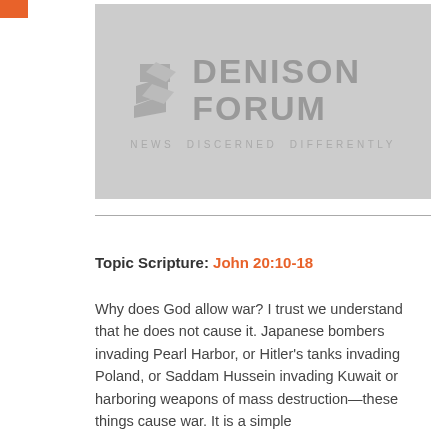[Figure (logo): Denison Forum logo with stylized leaf/book icon, text DENISON FORUM, tagline NEWS DISCERNED DIFFERENTLY, on a gray background]
Topic Scripture: John 20:10-18
Why does God allow war? I trust we understand that he does not cause it. Japanese bombers invading Pearl Harbor, or Hitler's tanks invading Poland, or Saddam Hussein invading Kuwait or harboring weapons of mass destruction—these things cause war. It is a simple